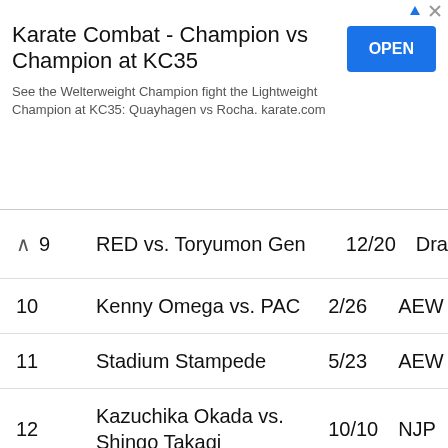[Figure (other): Advertisement banner for Karate Combat - Champion vs Champion at KC35 with OPEN button]
| # | Match | Date | Org |
| --- | --- | --- | --- |
| (9) | RED vs. Toryumon Gen | 12/20 | Dra… |
| 10 | Kenny Omega vs. PAC | 2/26 | AEW |
| 11 | Stadium Stampede | 5/23 | AEW |
| 12 | Kazuchika Okada vs. Shingo Takagi | 10/10 | NJP… |
| 13 | Villano III Jr. vs. Aéreo | 3/1 | AAA… |
| 14 | Santana/Ortiz vs. Best Friends | 9/16 | AEW |
| 15 | Katsu…vs Mi… | 10/10 | NJP… |